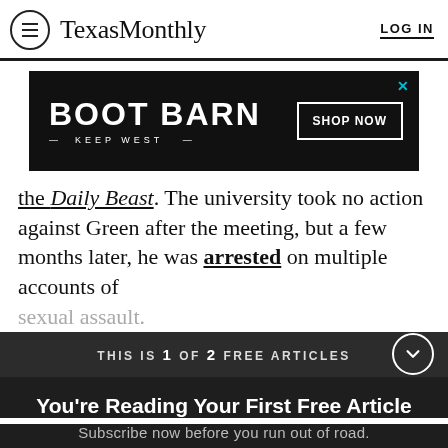Texas Monthly  LOG IN
[Figure (other): Boot Barn advertisement banner — black background with 'BOOT BARN KEEP WEST' logo in white bold text and a 'SHOP NOW' button with a white border]
the Daily Beast. The university took no action against Green after the meeting, but a few months later, he was arrested on multiple accounts of sexual assault.
THIS IS 1 OF 2 FREE ARTICLES
You're Reading Your First Free Article
Subscribe now before you run out of road.
SUBSCRIBE NOW
Already a subscriber? Log in